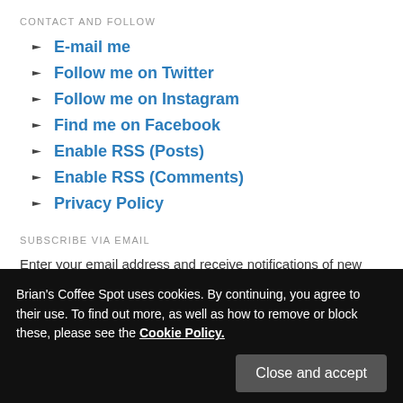CONTACT AND FOLLOW
E-mail me
Follow me on Twitter
Follow me on Instagram
Find me on Facebook
Enable RSS (Posts)
Enable RSS (Comments)
Privacy Policy
SUBSCRIBE VIA EMAIL
Enter your email address and receive notifications of new posts from Brian's Coffee Spot.
Brian's Coffee Spot uses cookies. By continuing, you agree to their use. To find out more, as well as how to remove or block these, please see the Cookie Policy.